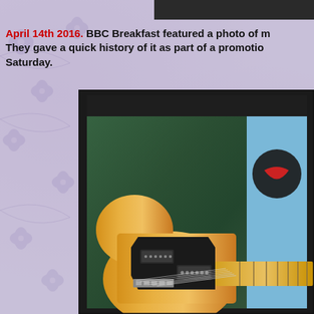April 14th 2016. BBC Breakfast featured a photo of my guitar on TV. They gave a quick history of it as part of a promotion for their show on Saturday.
[Figure (photo): A photo of a Fender Telecaster-style electric guitar with a butterscotch/natural blonde body and black pickguard, displayed against a dark green mottled background, shown on a TV screen. The guitar's two single-coil pickups, bridge, and part of the maple neck are visible. The photo is framed by a dark TV bezel.]